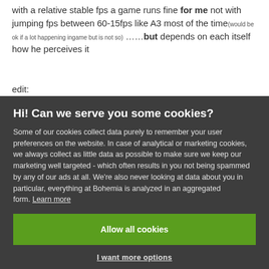with a relative stable fps a game runs fine for me not with jumping fps between 60-15fps like A3 most of the time(would be ok if a lot happening ingame but is not so) ……but depends on each itself how he perceives it
edit:
Hi! Can we serve you some cookies?
Some of our cookies collect data purely to remember your user preferences on the website. In case of analytical or marketing cookies, we always collect as little data as possible to make sure we keep our marketing well targeted - which often results in you not being spammed by any of our ads at all. We're also never looking at data about you in particular, everything at Bohemia is analyzed in an aggregated form. Learn more
Allow all cookies
I want more options